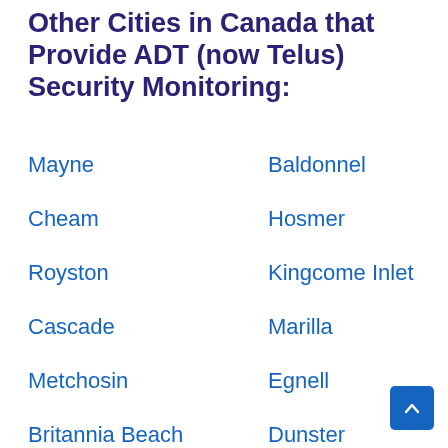Other Cities in Canada that Provide ADT (now Telus) Security Monitoring:
Mayne
Baldonnel
Cheam
Hosmer
Royston
Kingcome Inlet
Cascade
Marilla
Metchosin
Egnell
Britannia Beach
Dunster